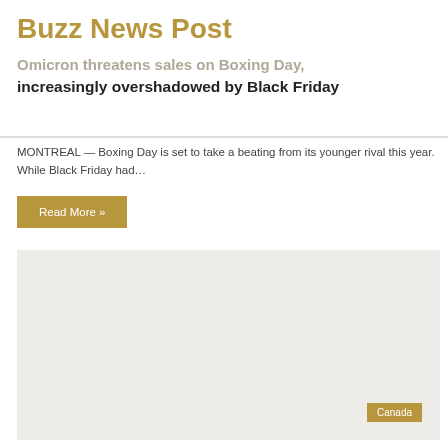Buzz News Post
Omicron threatens sales on Boxing Day, increasingly overshadowed by Black Friday
MONTREAL — Boxing Day is set to take a beating from its younger rival this year. While Black Friday had…
Read More »
[Figure (other): Advertisement placeholder box with a 'Canada' label in the bottom right corner]